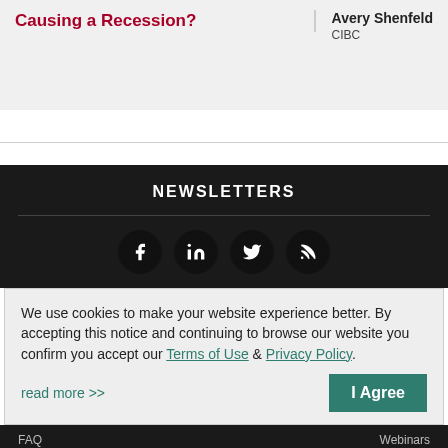Causing a Recession?
Avery Shenfeld
CIBC
NEWSLETTERS
[Figure (other): Social media icons: Facebook, LinkedIn, Twitter, RSS]
We use cookies to make your website experience better. By accepting this notice and continuing to browse our website you confirm you accept our Terms of Use & Privacy Policy.
read more >>
I Agree
FAQ    Webinars